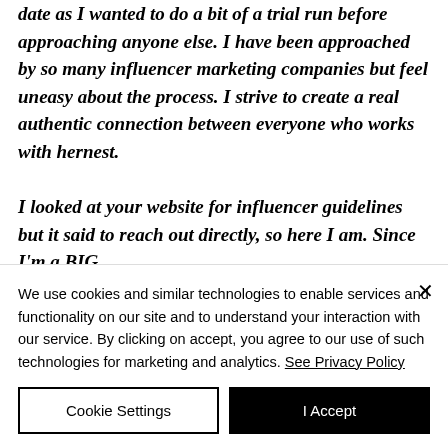date as I wanted to do a bit of a trial run before approaching anyone else. I have been approached by so many influencer marketing companies but feel uneasy about the process. I strive to create a real authentic connection between everyone who works with hernest.
I looked at your website for influencer guidelines but it said to reach out directly, so here I am. Since I'm a BIG
We use cookies and similar technologies to enable services and functionality on our site and to understand your interaction with our service. By clicking on accept, you agree to our use of such technologies for marketing and analytics. See Privacy Policy